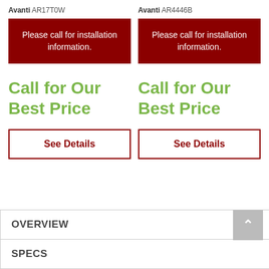Avanti AR17T0W
Please call for installation information.
Call for Our Best Price
See Details
Avanti AR4446B
Please call for installation information.
Call for Our Best Price
See Details
OVERVIEW
SPECS